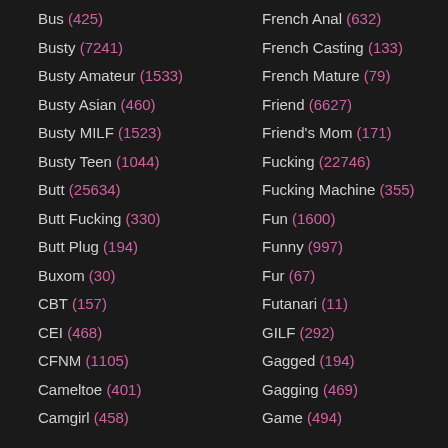Bus (425)
Busty (7241)
Busty Amateur (1533)
Busty Asian (460)
Busty MILF (1523)
Busty Teen (1044)
Butt (25634)
Butt Fucking (330)
Butt Plug (194)
Buxom (30)
CBT (157)
CEI (468)
CFNM (1105)
Cameltoe (401)
Camgirl (458)
French Anal (632)
French Casting (133)
French Mature (79)
Friend (6627)
Friend's Mom (171)
Fucking (22746)
Fucking Machine (355)
Fun (1600)
Funny (997)
Fur (67)
Futanari (11)
GILF (292)
Gagged (194)
Gagging (469)
Game (494)